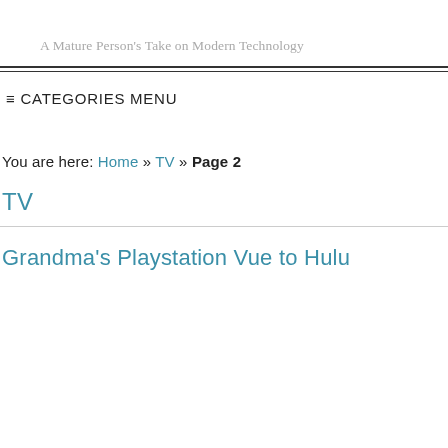A Mature Person’s Take on Modern Technology
≡ CATEGORIES MENU
You are here: Home » TV » Page 2
TV
Grandma’s Playstation Vue to Hulu